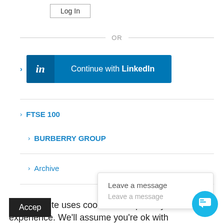[Figure (screenshot): Log In button — rectangular button with border, text 'Log In']
OR
[Figure (screenshot): Continue with LinkedIn button — blue button with LinkedIn 'in' logo on left and text 'Continue with LinkedIn']
> FTSE 100
> BURBERRY GROUP
> Archive
> FTSE 350
This website uses cookies to improve your experience. We'll assume you're ok with this, but you can opt-out if you wish.
[Figure (screenshot): Accept button — black button with white text 'Accept']
Leave a message
Leave a message
[Figure (other): Chat widget button — blue circle with chat icon]